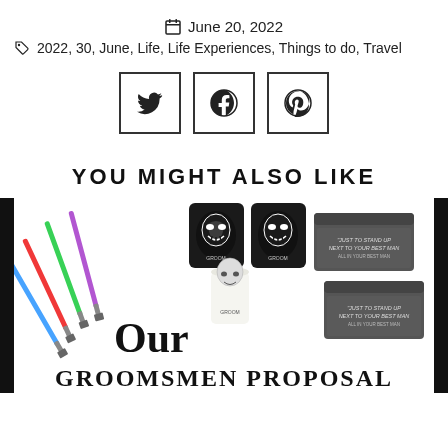June 20, 2022
2022, 30, June, Life, Life Experiences, Things to do, Travel
[Figure (other): Social share buttons: Twitter, Facebook, Pinterest in square bordered boxes]
YOU MIGHT ALSO LIKE
[Figure (photo): Promotional image showing lightsabers, groomsmen mugs with groom logo, proposal boxes, with text 'Our GROOMSMEN PROPOSAL Boxes']